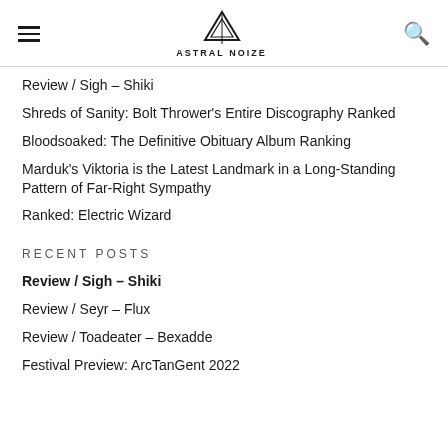ASTRAL NOIZE
Review / Sigh – Shiki
Shreds of Sanity: Bolt Thrower's Entire Discography Ranked
Bloodsoaked: The Definitive Obituary Album Ranking
Marduk's Viktoria is the Latest Landmark in a Long-Standing Pattern of Far-Right Sympathy
Ranked: Electric Wizard
RECENT POSTS
Review / Sigh – Shiki
Review / Seyr – Flux
Review / Toadeater – Bexadde
Festival Preview: ArcTanGent 2022